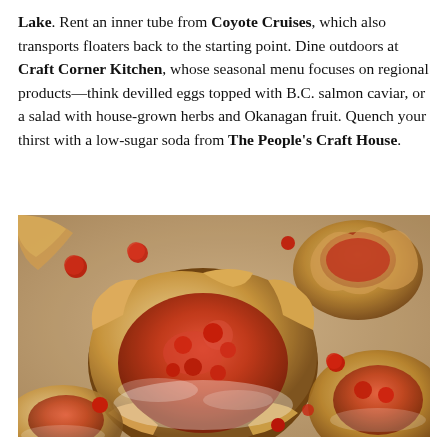Lake. Rent an inner tube from Coyote Cruises, which also transports floaters back to the starting point. Dine outdoors at Craft Corner Kitchen, whose seasonal menu focuses on regional products—think devilled eggs topped with B.C. salmon caviar, or a salad with house-grown herbs and Okanagan fruit. Quench your thirst with a low-sugar soda from The People's Craft House.
[Figure (photo): Close-up photograph of small round rustic fruit galettes (open-faced pastries) dusted with powdered sugar, filled with red berry/strawberry compote, scattered on a surface with loose berries.]